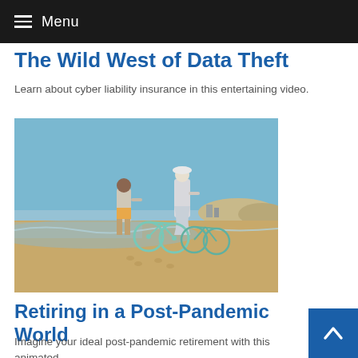Menu
The Wild West of Data Theft
Learn about cyber liability insurance in this entertaining video.
[Figure (photo): Two people standing on a beach holding bicycles, viewed from behind, with ocean and sandy shoreline in the background.]
Retiring in a Post-Pandemic World
Imagine your ideal post-pandemic retirement with this animated video.